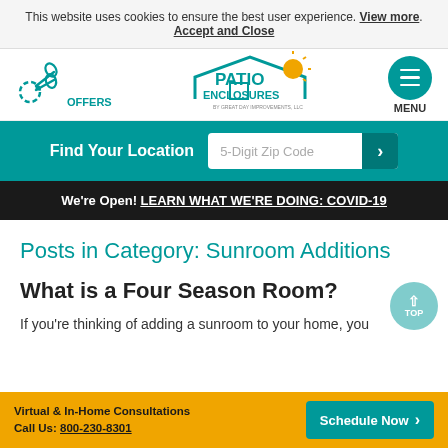This website uses cookies to ensure the best user experience. View more. Accept and Close
[Figure (logo): Patio Enclosures logo with house icon and sun, teal color scheme. Left side shows scissors/offers icon. Right side shows teal hamburger menu circle with MENU label.]
Find Your Location  5-Digit Zip Code
We're Open! LEARN WHAT WE'RE DOING: COVID-19
Posts in Category: Sunroom Additions
What is a Four Season Room?
If you're thinking of adding a sunroom to your home, you
Virtual & In-Home Consultations
Call Us: 800-230-8301
Schedule Now